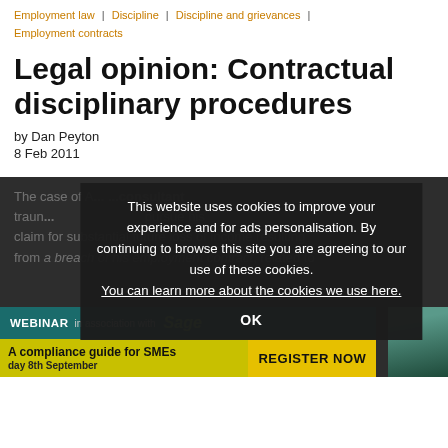Employment law | Discipline | Discipline and grievances | Employment contracts
Legal opinion: Contractual disciplinary procedures
by Dan Peyton
8 Feb 2011
This website uses cookies to improve your experience and for ads personalisation. By continuing to browse this site you are agreeing to our use of these cookies. You can learn more about the cookies we use here.
OK
The case of... [consultant trainee]... pursue his claim for substantial future loss of income resulting from a breach of his employment contract, related to
[Figure (infographic): Webinar promo bar: WEBINAR in association with Sage — A compliance guide for SMEs — Thursday 8th September — REGISTER NOW button, with a photo of a person on the right]